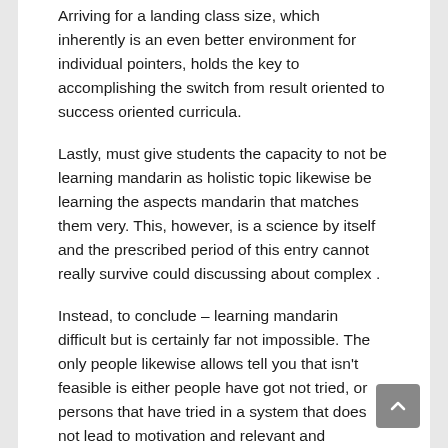Arriving for a landing class size, which inherently is an even better environment for individual pointers, holds the key to accomplishing the switch from result oriented to success oriented curricula.
Lastly, must give students the capacity to not be learning mandarin as holistic topic likewise be learning the aspects mandarin that matches them very. This, however, is a science by itself and the prescribed period of this entry cannot really survive could discussing about complex .
Instead, to conclude – learning mandarin difficult but is certainly far not impossible. The only people likewise allows tell you that isn't feasible is either people have got not tried, or persons that have tried in a system that does not lead to motivation and relevant and interesting down to earth results.